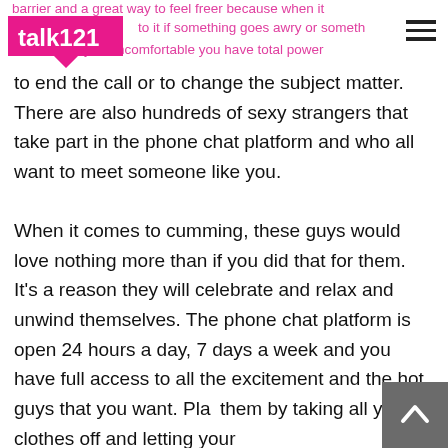barrier and a great way to feel freer because when it [logo: talk121] to it if something goes awry or something said makes you uncomfortable you have total power
to end the call or to change the subject matter. There are also hundreds of sexy strangers that take part in the phone chat platform and who all want to meet someone like you.

When it comes to cumming, these guys would love nothing more than if you did that for them. It's a reason they will celebrate and relax and unwind themselves. The phone chat platform is open 24 hours a day, 7 days a week and you have full access to all the excitement and the hot guys that you want. Pla[y] them by taking all your clothes off and letting your